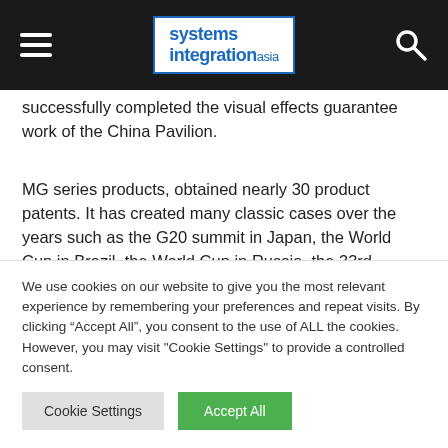systems integration asia
successfully completed the visual effects guarantee work of the China Pavilion.
MG series products, obtained nearly 30 product patents. It has created many classic cases over the years such as the G20 summit in Japan, the World Cup in Brazil, the World Cup in Russia, the 33rd Chinese Film Golden Rooster Award etc, and has won unanimous global customers recognition.
We use cookies on our website to give you the most relevant experience by remembering your preferences and repeat visits. By clicking “Accept All”, you consent to the use of ALL the cookies. However, you may visit "Cookie Settings" to provide a controlled consent.